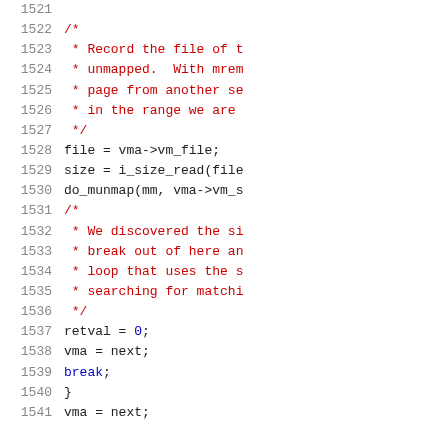[Figure (screenshot): Source code listing showing lines 1521-1541 of a C source file with line numbers and syntax highlighting. Comments are in red, keywords and some tokens in blue, regular code in dark/black monospace font.]